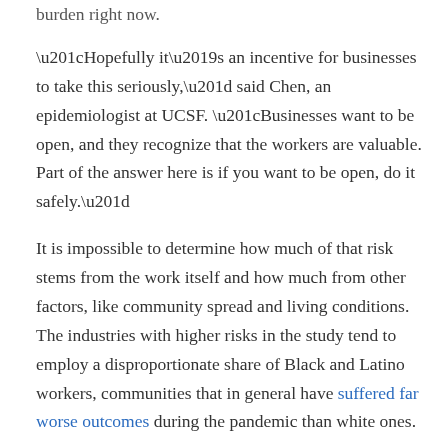burden right now.
“Hopefully it’s an incentive for businesses to take this seriously,” said Chen, an epidemiologist at UCSF. “Businesses want to be open, and they recognize that the workers are valuable. Part of the answer here is if you want to be open, do it safely.”
It is impossible to determine how much of that risk stems from the work itself and how much from other factors, like community spread and living conditions. The industries with higher risks in the study tend to employ a disproportionate share of Black and Latino workers, communities that in general have suffered far worse outcomes during the pandemic than white ones.
Hopefully it’s an incentive for